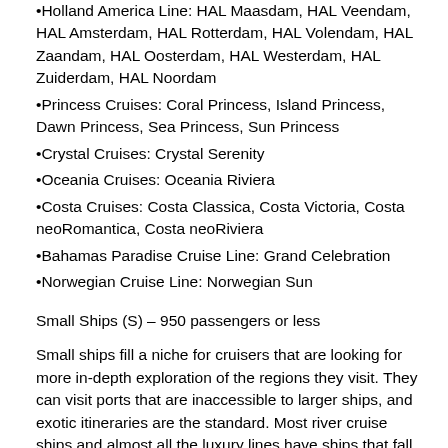Holland America Line: HAL Maasdam, HAL Veendam, HAL Amsterdam, HAL Rotterdam, HAL Volendam, HAL Zaandam, HAL Oosterdam, HAL Westerdam, HAL Zuiderdam, HAL Noordam
Princess Cruises: Coral Princess, Island Princess, Dawn Princess, Sea Princess, Sun Princess
Crystal Cruises: Crystal Serenity
Oceania Cruises: Oceania Riviera
Costa Cruises: Costa Classica, Costa Victoria, Costa neoRomantica, Costa neoRiviera
Bahamas Paradise Cruise Line: Grand Celebration
Norwegian Cruise Line: Norwegian Sun
Small Ships (S) – 950 passengers or less
Small ships fill a niche for cruisers that are looking for more in-depth exploration of the regions they visit. They can visit ports that are inaccessible to larger ships, and exotic itineraries are the standard. Most river cruise ships and almost all the luxury lines have ships that fall into this